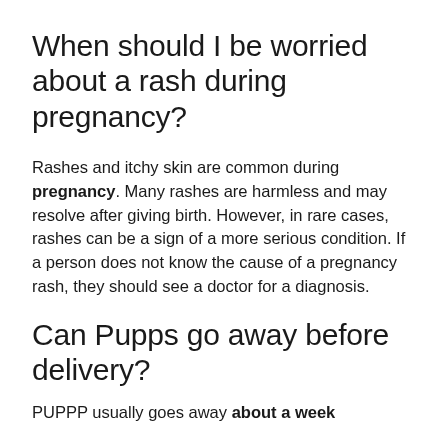When should I be worried about a rash during pregnancy?
Rashes and itchy skin are common during pregnancy. Many rashes are harmless and may resolve after giving birth. However, in rare cases, rashes can be a sign of a more serious condition. If a person does not know the cause of a pregnancy rash, they should see a doctor for a diagnosis.
Can Pupps go away before delivery?
PUPPP usually goes away about a week